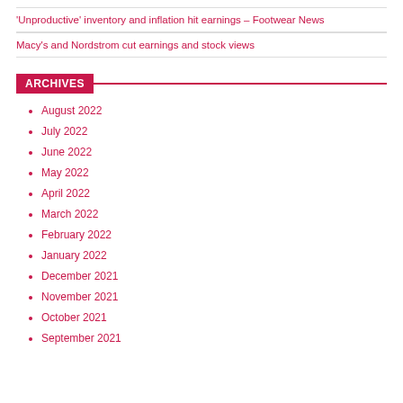'Unproductive' inventory and inflation hit earnings – Footwear News
Macy's and Nordstrom cut earnings and stock views
ARCHIVES
August 2022
July 2022
June 2022
May 2022
April 2022
March 2022
February 2022
January 2022
December 2021
November 2021
October 2021
September 2021